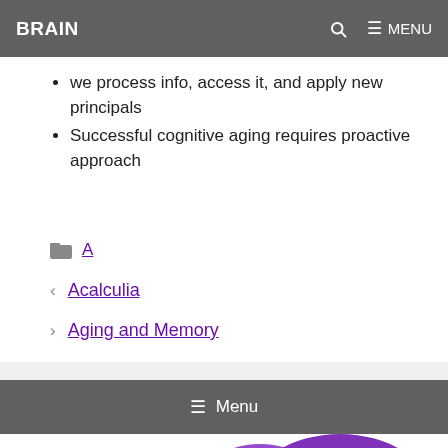BRAIN   🔍   ≡ MENU
we process info, access it, and apply new principals
Successful cognitive aging requires proactive approach
📁  A
< Acalculia
> Aging and Memory
≡ Menu
[Figure (illustration): Purple brain illustration partially visible at bottom of page]